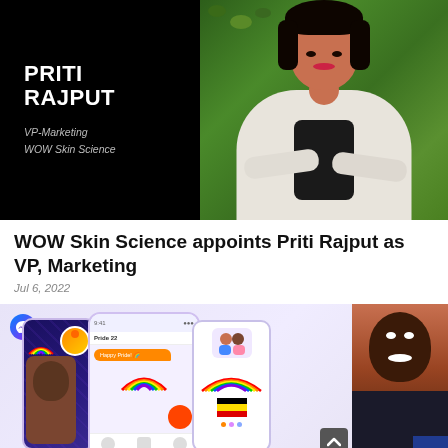[Figure (photo): Split image: left side is black background with white bold text 'PRITI RAJPUT' and subtitle 'VP-Marketing WOW Skin Science'; right side is a photo of a woman in a white blazer standing in front of a green hedge, arms crossed, smiling.]
WOW Skin Science appoints Priti Rajput as VP, Marketing
Jul 6, 2022
[Figure (screenshot): Screenshot showing Facebook Messenger app with Pride-themed content: multiple phone mockups displaying rainbow stickers, Pride 22 messaging features, colorful emoji and rainbow graphics. A Messenger icon is visible top-left. A smiling Black woman appears on the right side of the image. A scroll-to-top button is visible in the lower right area.]